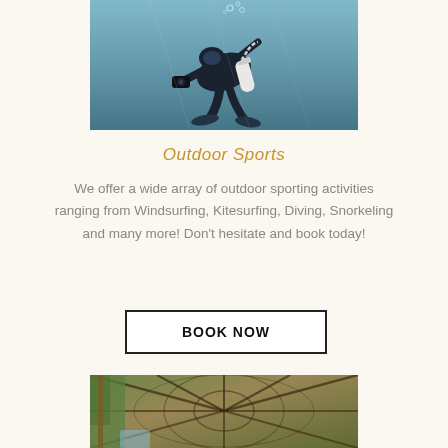[Figure (photo): Scuba diver underwater with equipment and tank, blue water background]
Outdoor Sports
We offer a wide array of outdoor sporting activities ranging from Windsurfing, Kitesurfing, Diving, Snorkeling and many more! Don't hesitate and book today!
BOOK NOW
[Figure (photo): Looking up at a thatched bamboo/rattan roof structure from below, with tropical trees visible]